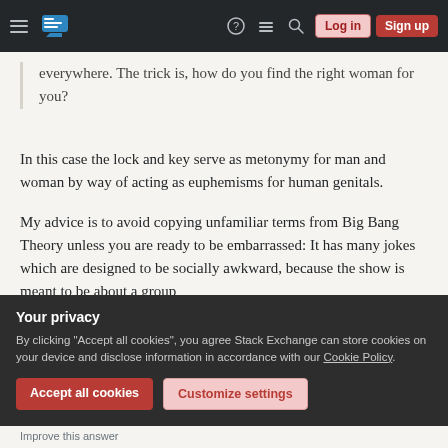Stack Exchange navigation bar with hamburger menu, logo, icons, Log in and Sign up buttons
everywhere. The trick is, how do you find the right woman for you?
In this case the lock and key serve as metonymy for man and woman by way of acting as euphemisms for human genitals.
My advice is to avoid copying unfamiliar terms from Big Bang Theory unless you are ready to be embarrassed: It has many jokes which are designed to be socially awkward, because the show is meant to be about a group
Your privacy
By clicking "Accept all cookies", you agree Stack Exchange can store cookies on your device and disclose information in accordance with our Cookie Policy.
Accept all cookies
Customize settings
Improve this answer